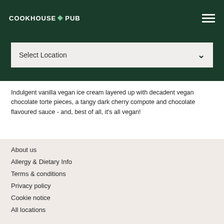COOKHOUSE PUB
Select Location
Indulgent vanilla vegan ice cream layered up with decadent vegan chocolate torte pieces, a tangy dark cherry compote and chocolate flavoured sauce - and, best of all, it's all vegan!
About us
Allergy & Dietary Info
Terms & conditions
Privacy policy
Cookie notice
All locations